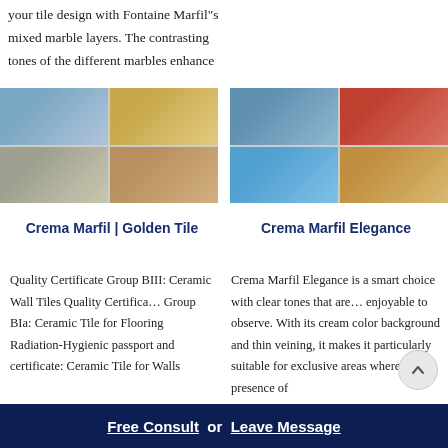your tile design with Fontaine Marfil"s mixed marble layers. The contrasting tones of the different marbles enhance
[Figure (photo): Four-panel photo grid showing industrial/mining equipment and quarry machinery]
[Figure (photo): Four-panel photo grid showing industrial equipment including crushers, conveyors and quarry machinery]
Crema Marfil | Golden Tile
Crema Marfil Elegance
Quality Certificate Group BIII: Ceramic Wall Tiles Quality Certifica… Group BIa: Ceramic Tile for Flooring Radiation-Hygienic passport and certificate: Ceramic Tile for Walls
Crema Marfil Elegance is a smart choice with clear tones that are… enjoyable to observe. With its cream color background and thin veining, it makes it particularly suitable for exclusive areas where the presence of
Free Consult  or  Leave Message